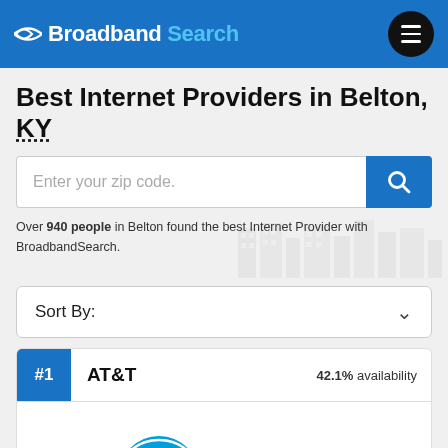Broadband Search
Best Internet Providers in Belton, KY
Enter your zip code.
Over 940 people in Belton found the best Internet Provider with BroadbandSearch.
Sort By:
#1  AT&T  42.1% availability
[Figure (logo): AT&T globe logo with blue concentric arcs and AT&T text in black bold font]